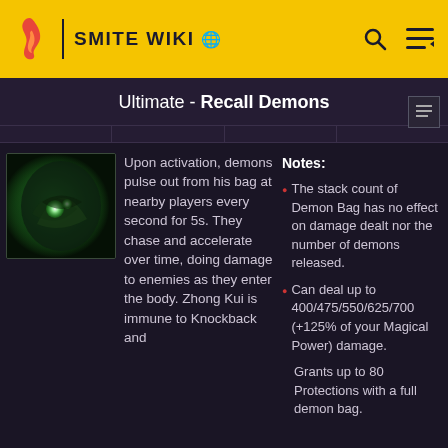SMITE WIKI
Ultimate - Recall Demons
[Figure (illustration): Green glowing demon ability icon for Zhong Kui's Recall Demons ultimate skill]
Upon activation, demons pulse out from his bag at nearby players every second for 5s. They chase and accelerate over time, doing damage to enemies as they enter the body. Zhong Kui is immune to Knockback and
Notes: The stack count of Demon Bag has no effect on damage dealt nor the number of demons released. Can deal up to 400/475/550/625/700 (+125% of your Magical Power) damage. Grants up to 80 Protections with a full demon bag.